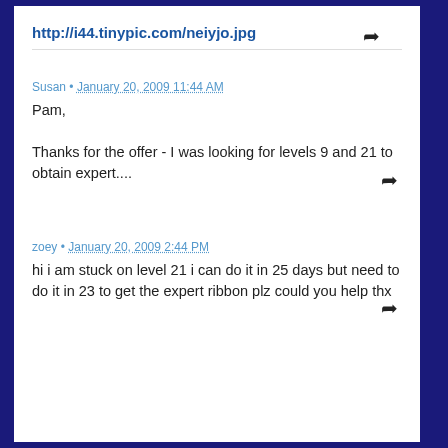http://i44.tinypic.com/neiyjo.jpg
Susan • January 20, 2009 11:44 AM
Pam,

Thanks for the offer - I was looking for levels 9 and 21 to obtain expert....
zoey • January 20, 2009 2:44 PM
hi i am stuck on level 21 i can do it in 25 days but need to do it in 23 to get the expert ribbon plz could you help thx